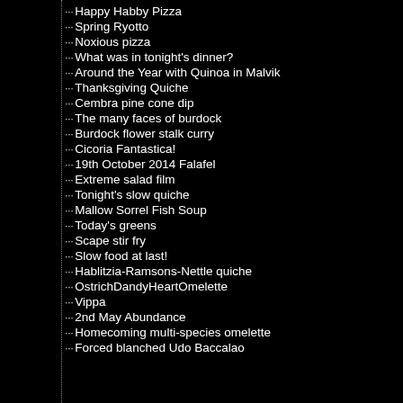Happy Habby Pizza
Spring Ryotto
Noxious pizza
What was in tonight's dinner?
Around the Year with Quinoa in Malvik
Thanksgiving Quiche
Cembra pine cone dip
The many faces of burdock
Burdock flower stalk curry
Cicoria Fantastica!
19th October 2014 Falafel
Extreme salad film
Tonight's slow quiche
Mallow Sorrel Fish Soup
Today's greens
Scape stir fry
Slow food at last!
Hablitzia-Ramsons-Nettle quiche
OstrichDandyHeartOmelette
Vippa
2nd May Abundance
Homecoming multi-species omelette
Forced blanched Udo Baccalao